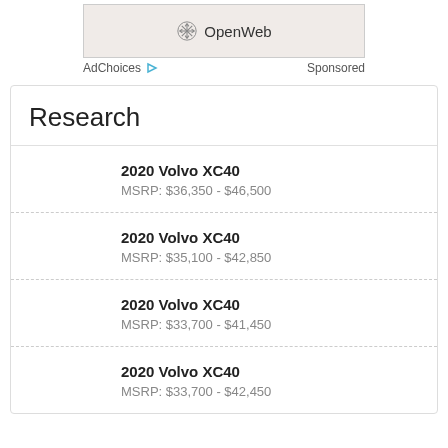[Figure (logo): OpenWeb logo with snowflake icon on beige/pink background banner]
AdChoices ▷   Sponsored
Research
2020 Volvo XC40
MSRP: $36,350 - $46,500
2020 Volvo XC40
MSRP: $35,100 - $42,850
2020 Volvo XC40
MSRP: $33,700 - $41,450
2020 Volvo XC40
MSRP: $33,700 - $42,450